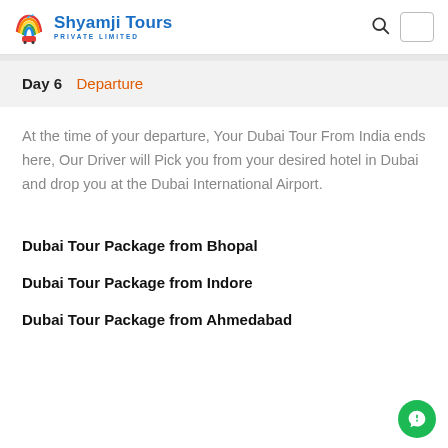Shyamji Tours PRIVATE LIMITED
Day 6  Departure
At the time of your departure, Your Dubai Tour From India ends here, Our Driver will Pick you from your desired hotel in Dubai and drop you at the Dubai International Airport.
Dubai Tour Package from Bhopal
Dubai Tour Package from Indore
Dubai Tour Package from Ahmedabad